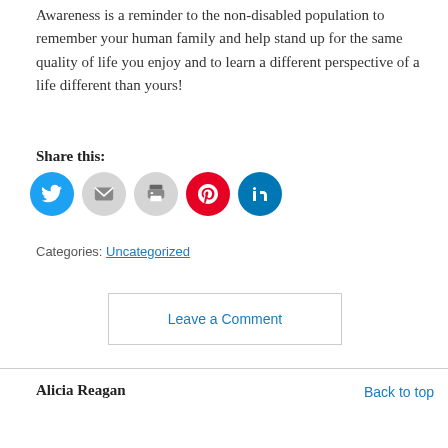Awareness is a reminder to the non-disabled population to remember your human family and help stand up for the same quality of life you enjoy and to learn a different perspective of a life different than yours!
Share this:
[Figure (other): Row of social media sharing icons: Twitter (blue circle), Email (light gray circle), Print (light gray circle), Pinterest (red circle), LinkedIn (dark blue circle)]
Categories: Uncategorized
Leave a Comment
Alicia Reagan
Back to top